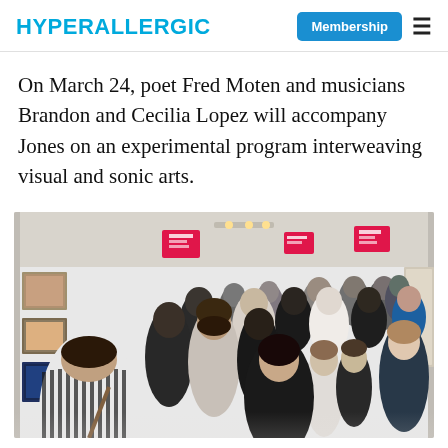HYPERALLERGIC | Membership
On March 24, poet Fred Moten and musicians Brandon and Cecilia Lopez will accompany Jones on an experimental program interweaving visual and sonic arts.
[Figure (photo): Crowd of people at an art fair or gallery opening, with pink/magenta gallery signage visible and artwork on the walls. People mingling in a bright white exhibition space.]